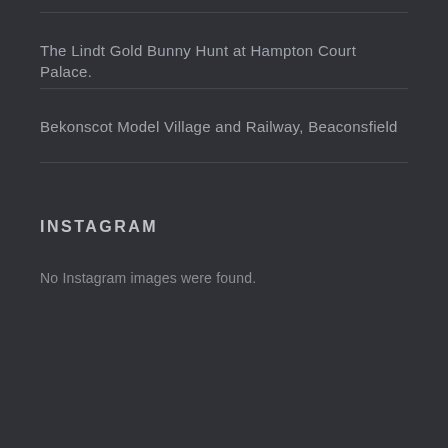The Lindt Gold Bunny Hunt at Hampton Court Palace.
Bekonscot Model Village and Railway, Beaconsfield
INSTAGRAM
No Instagram images were found.